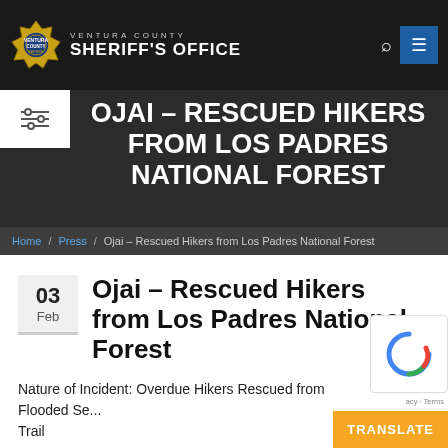VENTURA COUNTY SHERIFF'S OFFICE
OJAI – RESCUED HIKERS FROM LOS PADRES NATIONAL FOREST
Home / Press / Ojai – Rescued Hikers from Los Padres National Forest
03 Feb — Ojai – Rescued Hikers from Los Padres National Forest
Nature of Incident: Overdue Hikers Rescued from Flooded Se... Trail
Incident Number: 19-18-011